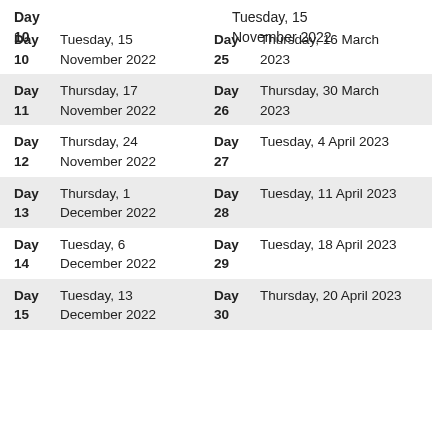| Day 10 | Tuesday, 15 November 2022 | Day 25 | Thursday, 16 March 2023 |
| Day 11 | Thursday, 17 November 2022 | Day 26 | Thursday, 30 March 2023 |
| Day 12 | Thursday, 24 November 2022 | Day 27 | Tuesday, 4 April 2023 |
| Day 13 | Thursday, 1 December 2022 | Day 28 | Tuesday, 11 April 2023 |
| Day 14 | Tuesday, 6 December 2022 | Day 29 | Tuesday, 18 April 2023 |
| Day 15 | Tuesday, 13 December 2022 | Day 30 | Thursday, 20 April 2023 |